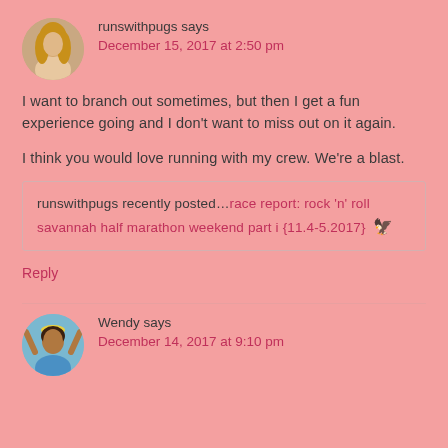[Figure (photo): Circular avatar photo of a woman with long blonde hair]
runswithpugs says
December 15, 2017 at 2:50 pm
I want to branch out sometimes, but then I get a fun experience going and I don't want to miss out on it again.
I think you would love running with my crew. We're a blast.
runswithpugs recently posted…race report: rock 'n' roll savannah half marathon weekend part i {11.4-5.2017}
Reply
[Figure (photo): Circular avatar photo of a woman with arms raised wearing a blue top]
Wendy says
December 14, 2017 at 9:10 pm